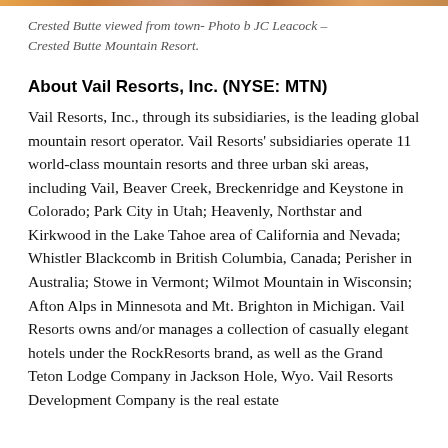[Figure (photo): Narrow decorative image strip at top of page showing a mountain resort scene (Crested Butte viewed from town), rendered as a color bar.]
Crested Butte viewed from town- Photo b JC Leacock – Crested Butte Mountain Resort.
About Vail Resorts, Inc. (NYSE: MTN)
Vail Resorts, Inc., through its subsidiaries, is the leading global mountain resort operator. Vail Resorts' subsidiaries operate 11 world-class mountain resorts and three urban ski areas, including Vail, Beaver Creek, Breckenridge and Keystone in Colorado; Park City in Utah; Heavenly, Northstar and Kirkwood in the Lake Tahoe area of California and Nevada; Whistler Blackcomb in British Columbia, Canada; Perisher in Australia; Stowe in Vermont; Wilmot Mountain in Wisconsin; Afton Alps in Minnesota and Mt. Brighton in Michigan. Vail Resorts owns and/or manages a collection of casually elegant hotels under the RockResorts brand, as well as the Grand Teton Lodge Company in Jackson Hole, Wyo. Vail Resorts Development Company is the real estate